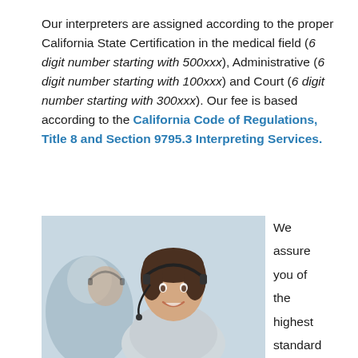Our interpreters are assigned according to the proper California State Certification in the medical field (6 digit number starting with 500xxx), Administrative (6 digit number starting with 100xxx) and Court (6 digit number starting with 300xxx). Our fee is based according to the California Code of Regulations, Title 8 and Section 9795.3 Interpreting Services.
[Figure (photo): Photo of customer service representatives wearing headsets, smiling, in an office setting. A woman in the foreground and another person behind her.]
We assure you of the highest standard in